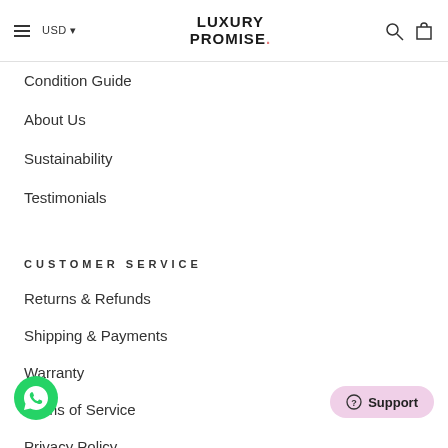LUXURY PROMISE. — USD — search — cart
Condition Guide
About Us
Sustainability
Testimonials
CUSTOMER SERVICE
Returns & Refunds
Shipping & Payments
Warranty
Terms of Service
Privacy Policy
[Figure (logo): WhatsApp chat icon (green circle with phone handset)]
Support